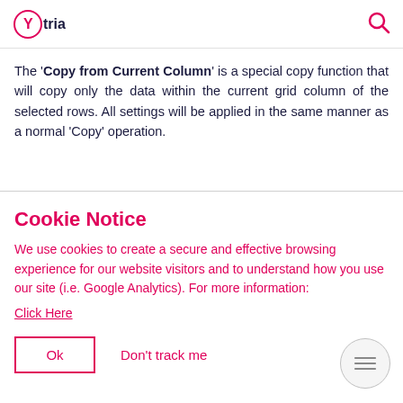Ytria [logo] [search icon]
The 'Copy from Current Column' is a special copy function that will copy only the data within the current grid column of the selected rows. All settings will be applied in the same manner as a normal 'Copy' operation.
Cookie Notice
We use cookies to create a secure and effective browsing experience for our website visitors and to understand how you use our site (i.e. Google Analytics). For more information:
Click Here
Ok   Don't track me